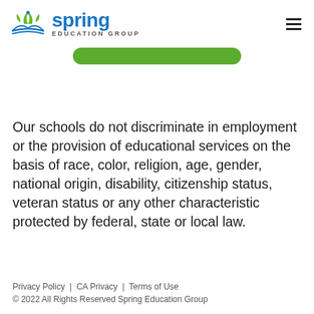Spring Education Group
Our schools do not discriminate in employment or the provision of educational services on the basis of race, color, religion, age, gender, national origin, disability, citizenship status, veteran status or any other characteristic protected by federal, state or local law.
Privacy Policy | CA Privacy | Terms of Use
© 2022 All Rights Reserved Spring Education Group